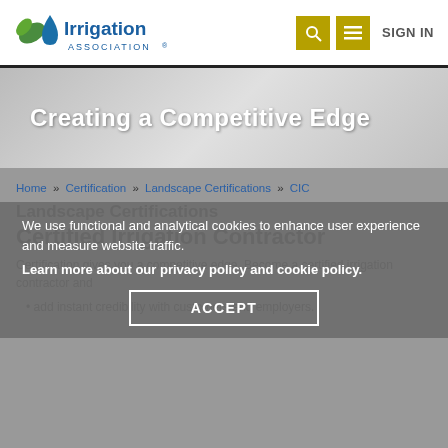Irrigation Association® | SIGN IN
Creating a Competitive Edge
Home » Certification » Landscape Certifications » CIC
We use functional and analytical cookies to enhance user experience and measure website traffic.
Learn more about our privacy policy and cookie policy.
ACCEPT
Landscape Certifications
Certified Irrigation Contractor
Certification gives you a competitive edge. Become a certified irrigation contractor and
add instant credibility with customers and employers.